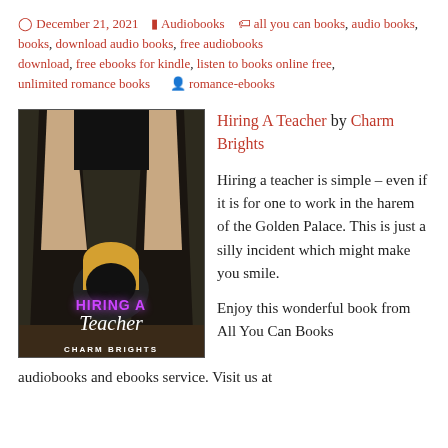December 21, 2021   Audiobooks   all you can books, audio books, books, download audio books, free audiobooks download, free ebooks for kindle, listen to books online free, unlimited romance books   romance-ebooks
[Figure (illustration): Book cover of 'Hiring A Teacher' by Charm Brights showing a woman in black outfit holding a rod, with neon pink/purple title text and white author name at bottom]
Hiring A Teacher by Charm Brights
Hiring a teacher is simple – even if it is for one to work in the harem of the Golden Palace. This is just a silly incident which might make you smile.
Enjoy this wonderful book from All You Can Books audiobooks and ebooks service. Visit us at